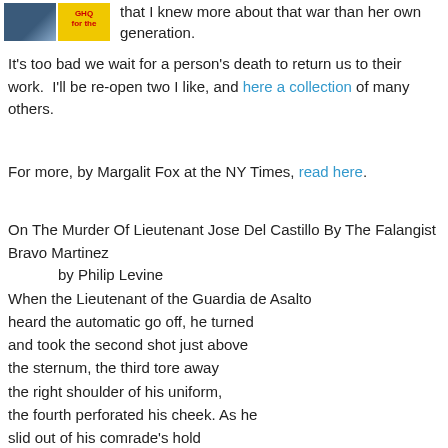that I knew more about that war than her own generation.
It's too bad we wait for a person's death to return us to their work.  I'll be re-open two I like, and here a collection of many others.
For more, by Margalit Fox at the NY Times, read here.
On The Murder Of Lieutenant Jose Del Castillo By The Falangist Bravo Martinez
    by Philip Levine
When the Lieutenant of the Guardia de Asalto
heard the automatic go off, he turned
and took the second shot just above
the sternum, the third tore away
the right shoulder of his uniform,
the fourth perforated his cheek. As he
slid out of his comrade's hold
toward the gray cement of the Ramblas
he lost count and knew only
that he would not die and that the blue sky
smudged with clouds was not heaven